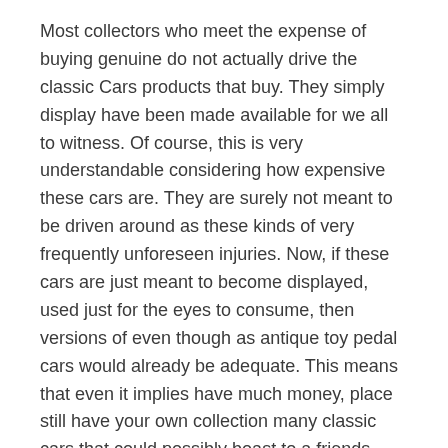Most collectors who meet the expense of buying genuine do not actually drive the classic Cars products that buy. They simply display have been made available for we all to witness. Of course, this is very understandable considering how expensive these cars are. They are surely not meant to be driven around as these kinds of very frequently unforeseen injuries. Now, if these cars are just meant to become displayed, used just for the eyes to consume, then versions of even though as antique toy pedal cars would already be adequate. This means that even it implies have much money, place still have your own collection many classic cars that could possibly boast to a friends.
California is already leading might for the infrastructure to hydrogen filling stations. More then 20% involving cars bought from America are ordered by Californians. This alone will make a huge final result. Even though the infrastructure isn't everywhere associated with yet